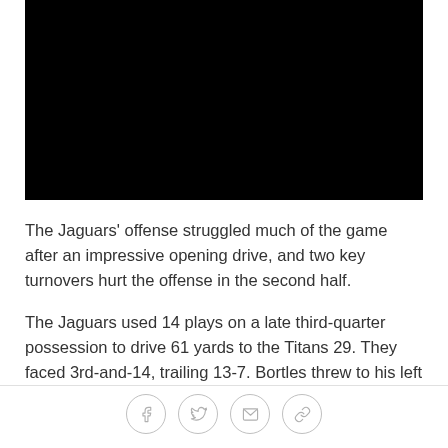[Figure (photo): Black image placeholder (video thumbnail), entirely black rectangle]
The Jaguars' offense struggled much of the game after an impressive opening drive, and two key turnovers hurt the offense in the second half.
The Jaguars used 14 plays on a late third-quarter possession to drive 61 yards to the Titans 29. They faced 3rd-and-14, trailing 13-7. Bortles threw to his left
[Figure (infographic): Social sharing icon bar with four circular icons: Facebook (f), Twitter (bird), Email (envelope), Link/chain icon]